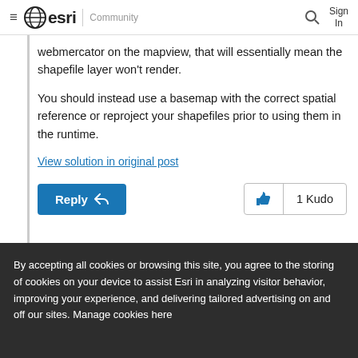esri Community
webmercator on the mapview, that will essentially mean the shapefile layer won't render.
You should instead use a basemap with the correct spatial reference or reproject your shapefiles prior to using them in the runtime.
View solution in original post
Reply   1 Kudo
By accepting all cookies or browsing this site, you agree to the storing of cookies on your device to assist Esri in analyzing visitor behavior, improving your experience, and delivering tailored advertising on and off our sites. Manage cookies here